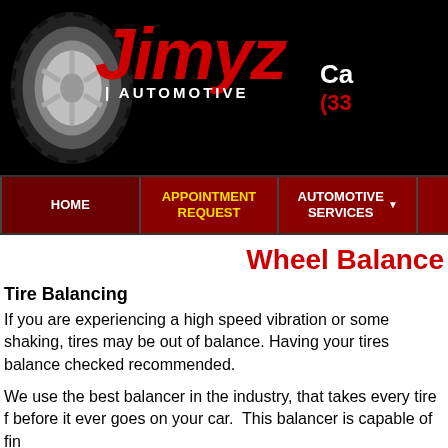[Figure (logo): Jimyz Automotive logo with tire image on black background, red stylized italic 'Jimyz' text, white 'AUTOMOTIVE' subtitle, and partial phone number on right]
[Figure (screenshot): Navigation bar with dark red background showing HOME, APPOINTMENT REQUEST (yellow), AUTOMOTIVE SERVICES (with dropdown arrow), and partially visible fourth item]
Wheel Balance
Tire Balancing
If you are experiencing a high speed vibration or some shaking, tires may be out of balance. Having your tires balance checked recommended.
We use the best balancer in the industry, that takes every tire f before it ever goes on your car.  This balancer is capable of fin